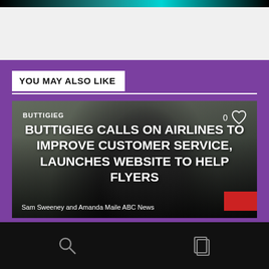[Figure (screenshot): Top navigation bar with teal/cyan gradient stripe]
YOU MAY ALSO LIKE
[Figure (photo): News article card showing a man in a suit (Buttigieg) with trees in background. Tag 'BUTTIGIEG' top left, heart/like icon top right showing 0 likes. Headline overlaid on image.]
BUTTIGIEG CALLS ON AIRLINES TO IMPROVE CUSTOMER SERVICE, LAUNCHES WEBSITE TO HELP FLYERS
Sam Sweeney and Amanda Maile ABC News
Bottom navigation bar with search and bookmark icons